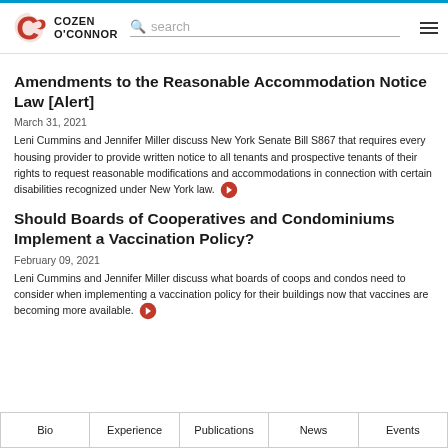Cozen O'Connor
Amendments to the Reasonable Accommodation Notice Law [Alert]
March 31, 2021
Leni Cummins and Jennifer Miller discuss New York Senate Bill S867 that requires every housing provider to provide written notice to all tenants and prospective tenants of their rights to request reasonable modifications and accommodations in connection with certain disabilities recognized under New York law.
Should Boards of Cooperatives and Condominiums Implement a Vaccination Policy?
February 09, 2021
Leni Cummins and Jennifer Miller discuss what boards of coops and condos need to consider when implementing a vaccination policy for their buildings now that vaccines are becoming more available.
Bio | Experience | Publications | News | Events